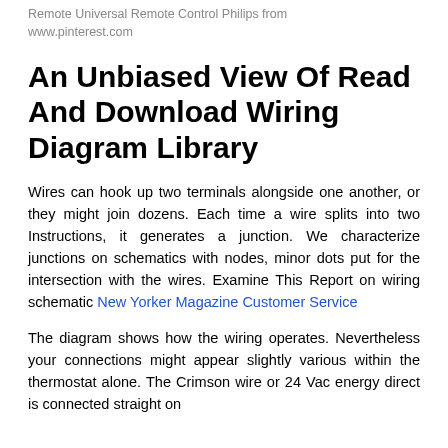Remote Universal Remote Control Philips from www.pinterest.com
An Unbiased View Of Read And Download Wiring Diagram Library
Wires can hook up two terminals alongside one another, or they might join dozens. Each time a wire splits into two Instructions, it generates a junction. We characterize junctions on schematics with nodes, minor dots put for the intersection with the wires. Examine This Report on wiring schematic New Yorker Magazine Customer Service
The diagram shows how the wiring operates. Nevertheless your connections might appear slightly various within the thermostat alone. The Crimson wire or 24 Vac energy direct is connected straight on